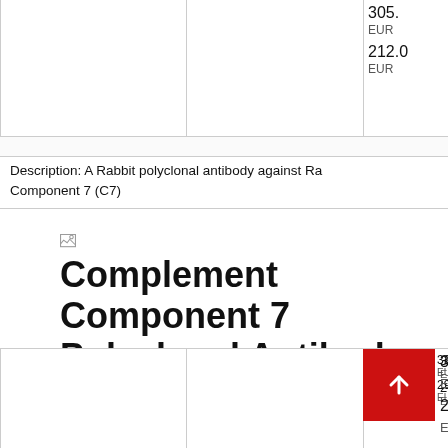|  |  | Price |
| --- | --- | --- |
|  |  | 305.
EUR
212.0
EUR |
Description: A Rabbit polyclonal antibody against Rat Complement Component 7 (C7)
[Figure (illustration): Broken image icon placeholder]
Complement Component 7 Polyclonal Antibody (Human
|  |  | Price |
| --- | --- | --- |
|  |  | 323.
EUR
296.
EUR |